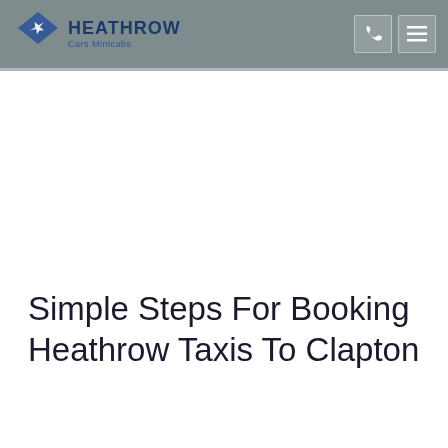HEATHROW Cars Minicabs
Simple Steps For Booking Heathrow Taxis To Clapton